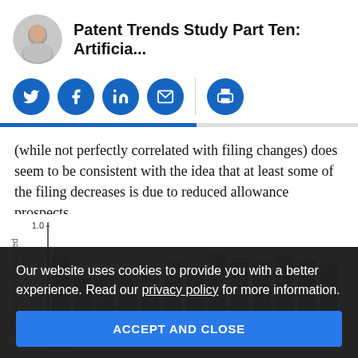Patent Trends Study Part Ten: Artificia...
[Figure (infographic): Social sharing icons row: Twitter, Facebook, LinkedIn, Email, Print]
(while not perfectly correlated with filing changes) does seem to be consistent with the idea that at least some of the filing decreases is due to reduced allowance prospects.
[Figure (bar-chart): Partial bar chart showing AI/Patent data, y-axis values 0.2 to 1.0, x-axis shows years starting from 2013, chart is partially obscured by cookie consent overlay]
Our website uses cookies to provide you with a better experience. Read our privacy policy for more information.
ACCEPT AND CLOSE